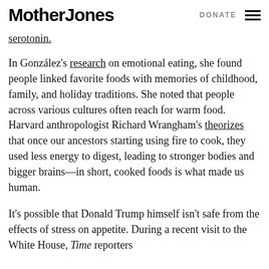Mother Jones | DONATE
serotonin.
In González's research on emotional eating, she found people linked favorite foods with memories of childhood, family, and holiday traditions. She noted that people across various cultures often reach for warm food. Harvard anthropologist Richard Wrangham's theorizes that once our ancestors starting using fire to cook, they used less energy to digest, leading to stronger bodies and bigger brains—in short, cooked foods is what made us human.
It's possible that Donald Trump himself isn't safe from the effects of stress on appetite. During a recent visit to the White House, Time reporters